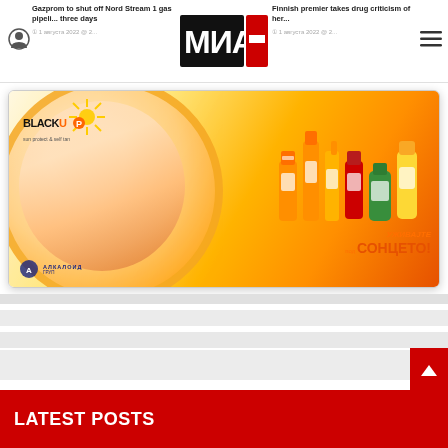MIA News - Website header with navigation, logo, and article previews
Gazprom to shut off Nord Stream 1 gas pipeli... three days
Finnish premier takes drug criticism of her...
[Figure (logo): МИА news logo - red and black Cyrillic letters]
[Figure (photo): Black Up sunscreen advertisement banner - smiling woman wearing sun hat, sunscreen products, Cyrillic text УЖИВАЈТЕ под СОНЦЕТО! and Алкалоид Груп logo]
LATEST POSTS